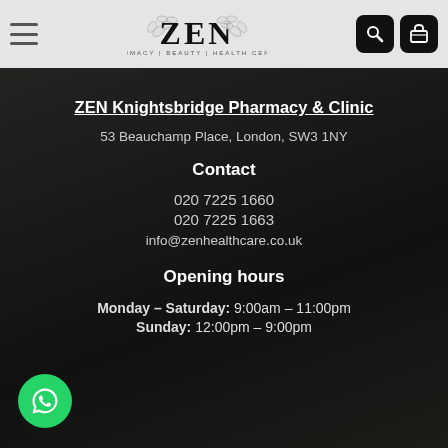ZEN PHARMACY | BEAUTY | HEALTH CENTRE
ZEN Knightsbridge Pharmacy & Clinic
53 Beauchamp Place, London, SW3 1NY
Contact
020 7225 1660
020 7225 1663
info@zenhealthcare.co.uk
Opening hours
Monday – Saturday: 9:00am – 11:00pm
Sunday: 12:00pm – 9:00pm